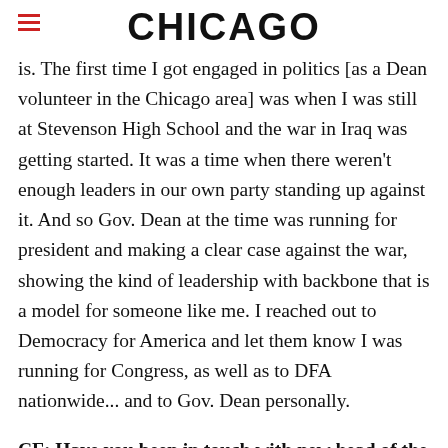CHICAGO
is. The first time I got engaged in politics [as a Dean volunteer in the Chicago area] was when I was still at Stevenson High School and the war in Iraq was getting started. It was a time when there weren't enough leaders in our own party standing up against it. And so Gov. Dean at the time was running for president and making a clear case against the war, showing the kind of leadership with backbone that is a model for someone like me. I reached out to Democracy for America and let them know I was running for Congress, as well as to DFA nationwide... and to Gov. Dean personally.
CF: Have you been in touch with new head of the Democratic Party, Debbie Wasserman Schultz,